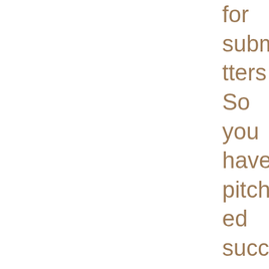for submitters So you have pitched successfully to an agent — what now? What are the polite ways to